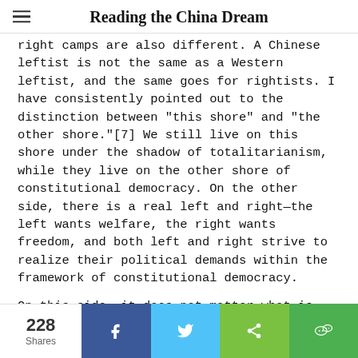Reading the China Dream
right camps are also different. A Chinese leftist is not the same as a Western leftist, and the same goes for rightists. I have consistently pointed out to the distinction between "this shore" and "the other shore."[7]  We still live on this shore under the shadow of totalitarianism, while they live on the other shore of constitutional democracy.  On the other side, there is a real left and right—the left wants welfare, the right wants freedom, and both left and right strive to realize their political demands within the framework of constitutional democracy.
On this side, it does not matter what is left or right; totalitarianism defines what is “correct,” and anything that is not correct is "wrong;" the "leftist" mainstream subscribes to totalitarianism, while the "rightists"
228 Shares  [Facebook] [Twitter] [Share] [WeChat]